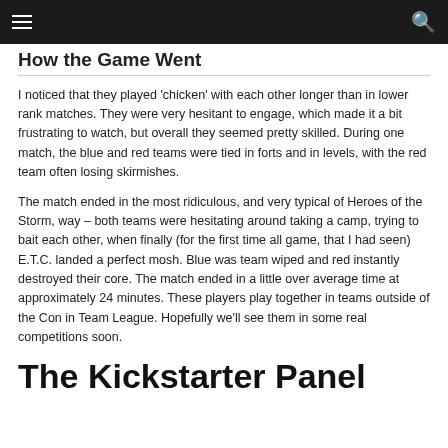≡  🔍
How the Game Went
I noticed that they played 'chicken' with each other longer than in lower rank matches. They were very hesitant to engage, which made it a bit frustrating to watch, but overall they seemed pretty skilled. During one match, the blue and red teams were tied in forts and in levels, with the red team often losing skirmishes.
The match ended in the most ridiculous, and very typical of Heroes of the Storm, way – both teams were hesitating around taking a camp, trying to bait each other, when finally (for the first time all game, that I had seen) E.T.C. landed a perfect mosh. Blue was team wiped and red instantly destroyed their core. The match ended in a little over average time at approximately 24 minutes. These players play together in teams outside of the Con in Team League. Hopefully we'll see them in some real competitions soon.
The Kickstarter Panel